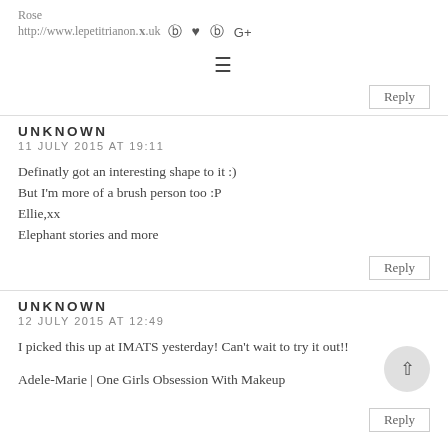Rose
http://www.lepetitrianon.co.uk
≡
Reply
UNKNOWN
11 JULY 2015 AT 19:11
Definatly got an interesting shape to it :)
But I'm more of a brush person too :P
Ellie,xx
Elephant stories and more
Reply
UNKNOWN
12 JULY 2015 AT 12:49
I picked this up at IMATS yesterday! Can't wait to try it out!!
Adele-Marie | One Girls Obsession With Makeup
Reply